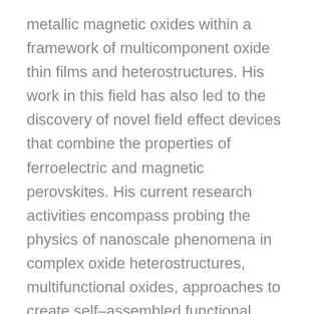metallic magnetic oxides within a framework of multicomponent oxide thin films and heterostructures. His work in this field has also led to the discovery of novel field effect devices that combine the properties of ferroelectric and magnetic perovskites. His current research activities encompass probing the physics of nanoscale phenomena in complex oxide heterostructures, multifunctional oxides, approaches to create self–assembled functional nanostructures, integration of complex oxides with semiconductor technologies, and the use of nanoscale scanned probes to understand fundamental properties and dynamics in such materials. His work is cited extensively (over 13000 citations), and he ranks among the Highly Cited Physicists around the world in the Physics Citation Index. He has been issued 26 patents with 1 more